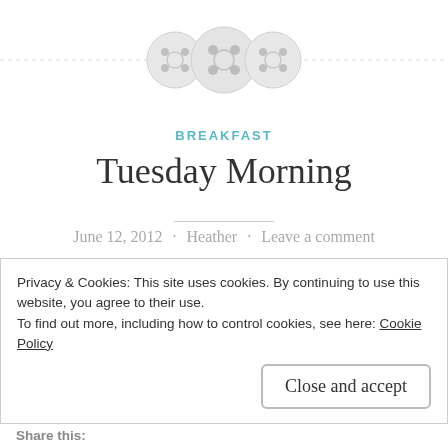[Figure (illustration): Three decorative button icons arranged in a row with a dashed horizontal line running through them, serving as a blog header decoration]
BREAKFAST
Tuesday Morning
June 12, 2012 · Heather · Leave a comment
I made a smoothie this morning – actually I made two. Usually my smoothies are really packed with ingredients and quite nutritionally dense. This morning I just was not
Privacy & Cookies: This site uses cookies. By continuing to use this website, you agree to their use.
To find out more, including how to control cookies, see here: Cookie Policy
Close and accept
Share this: